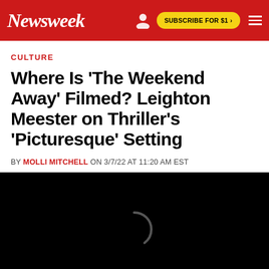Newsweek | SUBSCRIBE FOR $1 >
CULTURE
Where Is 'The Weekend Away' Filmed? Leighton Meester on Thriller's 'Picturesque' Setting
BY MOLLI MITCHELL ON 3/7/22 AT 11:20 AM EST
[Figure (photo): Black loading screen with a circular loading spinner in the center]